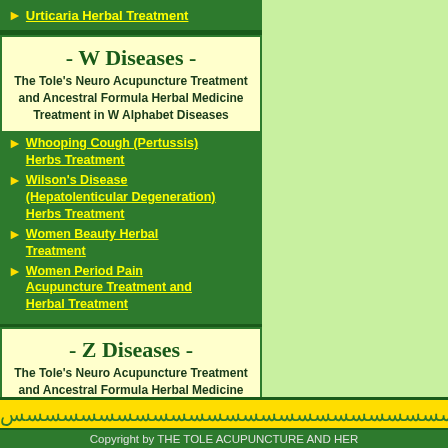Urticaria Herbal Treatment
- W Diseases -
The Tole's Neuro Acupuncture Treatment and Ancestral Formula Herbal Medicine Treatment in W Alphabet Diseases
Whooping Cough (Pertussis) Herbs Treatment
Wilson's Disease (Hepatolenticular Degeneration) Herbs Treatment
Women Beauty Herbal Treatment
Women Period Pain Acupuncture Treatment and Herbal Treatment
- Z Diseases -
The Tole's Neuro Acupuncture Treatment and Ancestral Formula Herbal Medicine Treatment in Z Alphabet Diseases
Zollinger Ellison Syndrome
Zoster
Copyright by THE TOLE ACUPUNCTURE AND HER